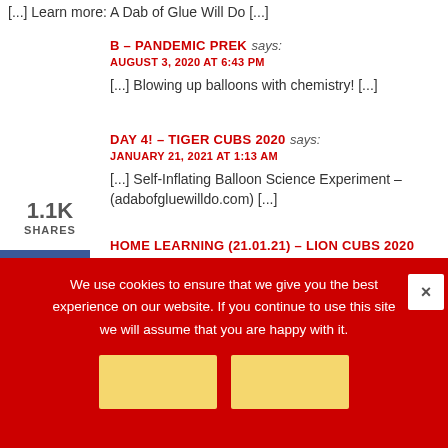[...] Learn more: A Dab of Glue Will Do [...]
1.1K SHARES
B – PANDEMIC PREK says:
AUGUST 3, 2020 AT 6:43 PM
[...] Blowing up balloons with chemistry! [...]
DAY 4! – TIGER CUBS 2020 says:
JANUARY 21, 2021 AT 1:13 AM
[...] Self-Inflating Balloon Science Experiment – (adabofgluewilldo.com) [...]
HOME LEARNING (21.01.21) – LION CUBS 2020 says:
We use cookies to ensure that we give you the best experience on our website. If you continue to use this site we will assume that you are happy with it.